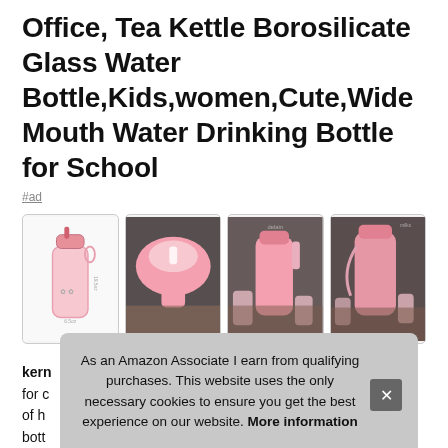Office, Tea Kettle Borosilicate Glass Water Bottle,Kids,women,Cute,Wide Mouth Water Drinking Bottle for School
#ad
[Figure (photo): Four thumbnail photos of a pink borosilicate glass water bottle with straw lid, shown from different angles]
kern for c of h bott
As an Amazon Associate I earn from qualifying purchases. This website uses the only necessary cookies to ensure you get the best experience on our website. More information